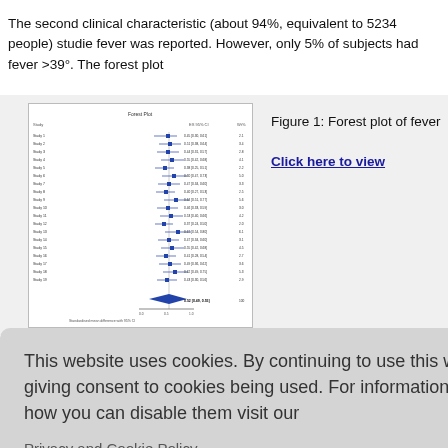The second clinical characteristic (about 94%, equivalent to 5234 people) studied fever was reported. However, only 5% of subjects had fever >39°. The forest plot
[Figure (other): Forest plot of fever showing study names and effect sizes with confidence intervals]
Figure 1: Forest plot of fever
Click here to view
tigue and w were preva 18.5% repo
This website uses cookies. By continuing to use this website you are giving consent to cookies being used. For information on cookies and how you can disable them visit our
Privacy and Cookie Policy.
AGREE & PROCEED
owel mover (10.1%). Co % reported i
Other signs and symptoms were examined in few patients or they had a lower